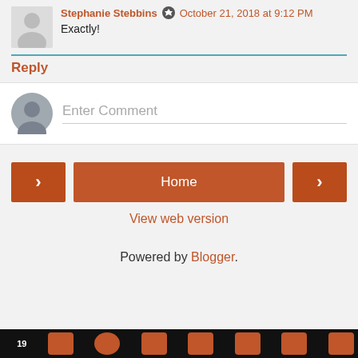Stephanie Stebbins · October 21, 2018 at 9:12 PM
Exactly!
Reply
Enter Comment
Home
View web version
Powered by Blogger.